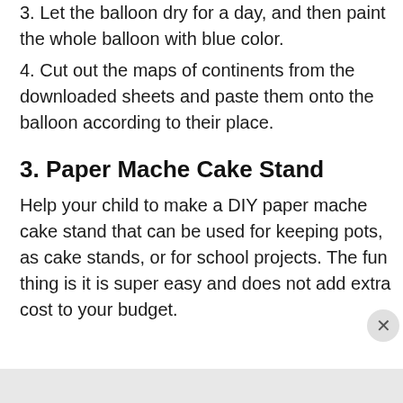3. Let the balloon dry for a day, and then paint the whole balloon with blue color.
4. Cut out the maps of continents from the downloaded sheets and paste them onto the balloon according to their place.
3. Paper Mache Cake Stand
Help your child to make a DIY paper mache cake stand that can be used for keeping pots, as cake stands, or for school projects. The fun thing is it is super easy and does not add extra cost to your budget.